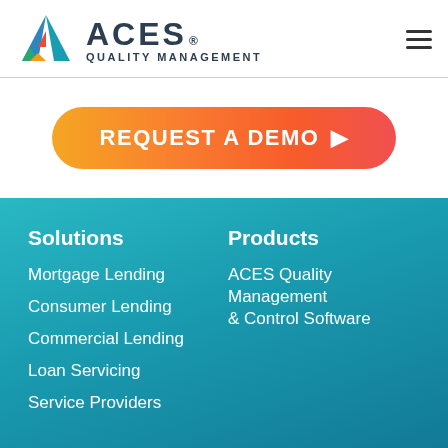[Figure (logo): ACES Quality Management logo with triangular icon in blue, green, orange and red colors, with text ACES and QUALITY MANAGEMENT below]
[Figure (infographic): Orange to red gradient REQUEST A DEMO button with play arrow icon]
Solutions
Mortgage Lending
Consumer Lending
Commercial Lending
Loan Servicing
Service Providers
Products
ACES Quality Management & Control Software